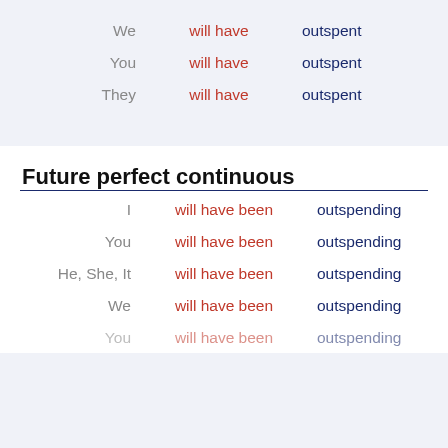We will have outspent
You will have outspent
They will have outspent
Future perfect continuous
I will have been outspending
You will have been outspending
He, She, It will have been outspending
We will have been outspending
You will have been outspending